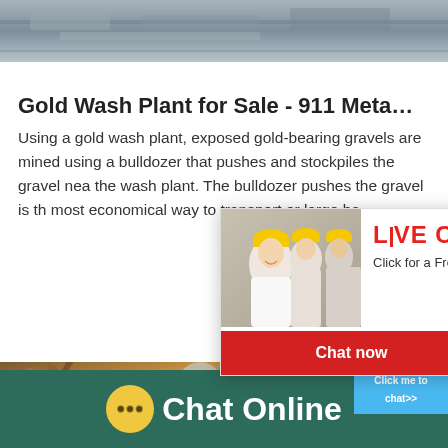[Figure (photo): Top banner image showing rocky/gravel mining landscape in grey tones]
Gold Wash Plant for Sale - 911 Meta…
Using a gold wash plant, exposed gold-bearing gravels are mined using a bulldozer that pushes and stockpiles the gravel near the wash plant. The bulldozer pushes the gravel is the most economical way to transport or large ba…
[Figure (screenshot): Live chat popup overlay showing workers in hard hats, red LIVE CHAT heading, 'Click for a Free Consultation' text, red 'Chat now' button and dark 'Chat later' button, close X button]
[Figure (screenshot): Right side advertisement panel in blue showing mining/crushing machine and 'Click me to chat>>' button]
[Figure (photo): Bottom industrial photo showing metallic equipment components in brown and silver tones]
Chat Online